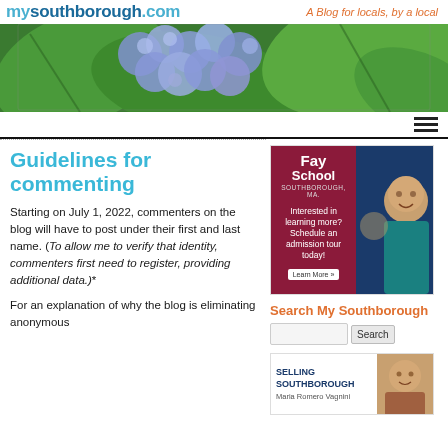mysouthborough.com — A Blog for locals, by a local
[Figure (photo): Blue hydrangea flowers with green leaves, hero banner image]
Guidelines for commenting
Starting on July 1, 2022, commenters on the blog will have to post under their first and last name. (To allow me to verify that identity, commenters first need to register, providing additional data.)*
For an explanation of why the blog is eliminating anonymous
[Figure (photo): Fay School Southborough MA advertisement — Interested in learning more? Schedule an admission tour today! Learn More button, with photo of smiling student]
Search My Southborough
[Figure (photo): Selling Southborough advertisement with Maria Romero Vagnini photo]